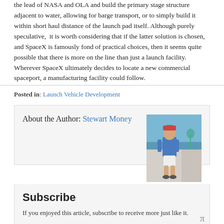the lead of NASA and OLA and build the primary stage structure adjacent to water, allowing for barge transport, or to simply build it within short haul distance of the launch pad itself. Although purely speculative, it is worth considering that if the latter solution is chosen, and SpaceX is famously fond of practical choices, then it seems quite possible that there is more on the line than just a launch facility. Wherever SpaceX ultimately decides to locate a new commercial spaceport, a manufacturing facility could follow.
Posted in: Launch Vehicle Development
About the Author: Stewart Money
[Figure (photo): Photo of Stewart Money standing near a sea wall with ocean visible in background, wearing blue shirt and white shorts]
Subscribe
If you enjoyed this article, subscribe to receive more just like it.